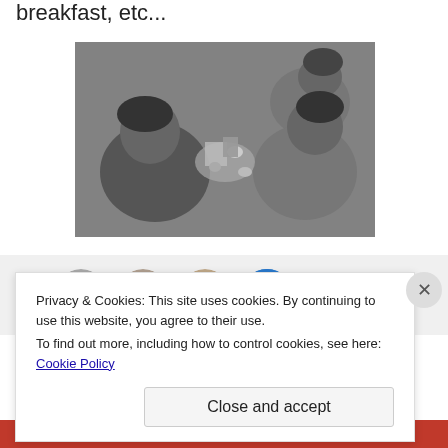breakfast, etc...
[Figure (photo): Black and white photo of children sitting on the floor playing with small objects/toys scattered between them, viewed from above.]
[Figure (photo): Social sharing row showing circular avatar photos of people and a blue button with an icon, on a light gray background.]
Privacy & Cookies: This site uses cookies. By continuing to use this website, you agree to their use.
To find out more, including how to control cookies, see here: Cookie Policy
Close and accept